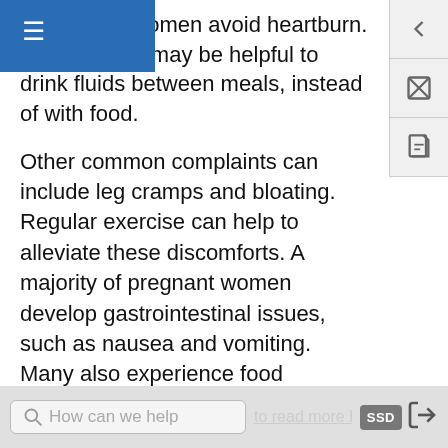navigation bar with hamburger menu
p pregnant women avoid heartburn. In addition, it may be helpful to drink fluids between meals, instead of with food.
Other common complaints can include leg cramps and bloating. Regular exercise can help to alleviate these discomforts. A majority of pregnant women develop gastrointestinal issues, such as nausea and vomiting. Many also experience food cravings and aversions. All of these can impact a pregnant woman's nutritional intake and it is important to protect against adverse effects.
Nausea and Vomiting
Nausea and vomiting are gastrointestinal issues that strike many pregnant women, typically in the first
How can we help   to read more headlines   SSD